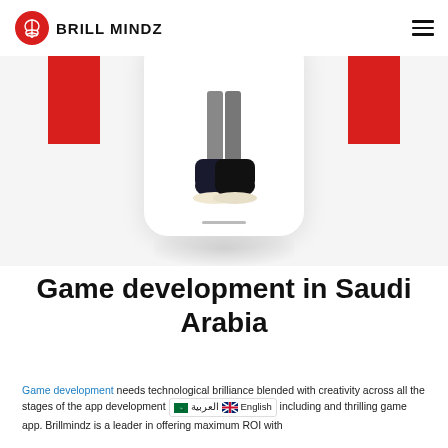BRILL MINDZ
[Figure (screenshot): Hero section showing a phone mockup with a shoe product image, flanked by two red rectangular blocks on a light grey background]
Game development in Saudi Arabia
Game development needs technological brilliance blended with creativity across all the stages of the app development process, including and thrilling game app. Brillmindz is a leader in offering maximum ROI with